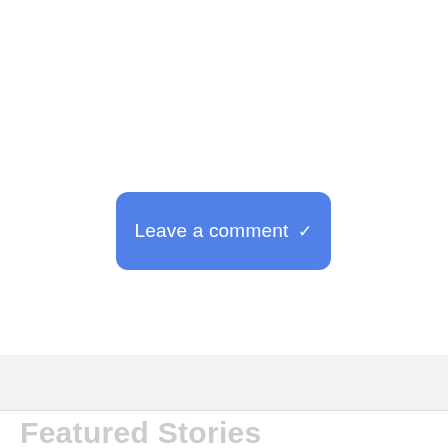[Figure (screenshot): A blue rounded button labeled 'Leave a comment' with a downward chevron icon, centered on a white background. Below is a light gray band, a horizontal divider, and the beginning of a 'Featured Stories' section heading in light gray.]
Featured Stories